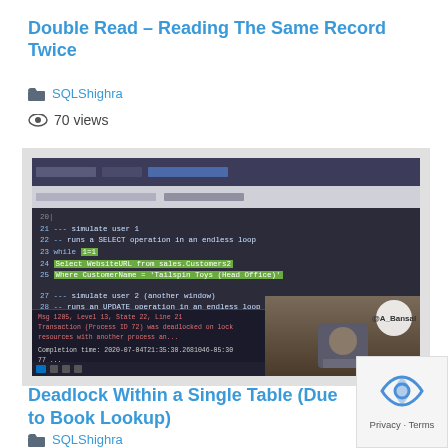Double Read – Reading The Same Record Twice
SQLShighra
70 views
[Figure (screenshot): Screenshot of SQL Server Management Studio showing SQL code for simulating a double read scenario with SELECT and UPDATE operations in a loop, with an error message about transaction deadlock, and a person visible in the lower right corner with @A_Bansal watermark.]
Deadlock Within a Single Table (Due to Book Lookup)
SQLShighra